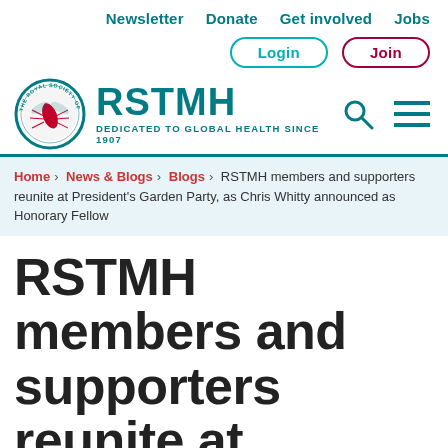Newsletter   Donate   Get involved   Jobs
Login   Join
[Figure (logo): RSTMH logo — Royal Society of Tropical Medicine & Hygiene circular emblem with mosquito illustration, beside the text RSTMH in teal and tagline DEDICATED TO GLOBAL HEALTH SINCE 1907]
Home > News & Blogs > Blogs > RSTMH members and supporters reunite at President's Garden Party, as Chris Whitty announced as Honorary Fellow
RSTMH members and supporters reunite at President's Garden